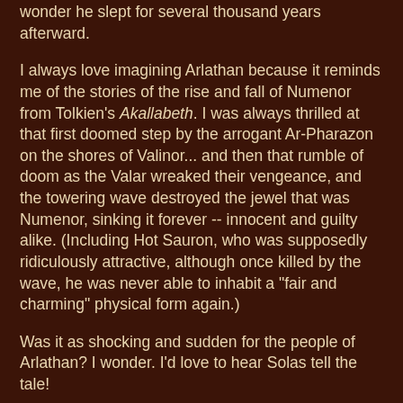wonder he slept for several thousand years afterward.
I always love imagining Arlathan because it reminds me of the stories of the rise and fall of Numenor from Tolkien's Akallabeth. I was always thrilled at that first doomed step by the arrogant Ar-Pharazon on the shores of Valinor... and then that rumble of doom as the Valar wreaked their vengeance, and the towering wave destroyed the jewel that was Numenor, sinking it forever -- innocent and guilty alike. (Including Hot Sauron, who was supposedly ridiculously attractive, although once killed by the wave, he was never able to inhabit a "fair and charming" physical form again.)
Was it as shocking and sudden for the people of Arlathan? I wonder. I'd love to hear Solas tell the tale!
Portents for Cities of Thedas
I also think there may be some really interesting